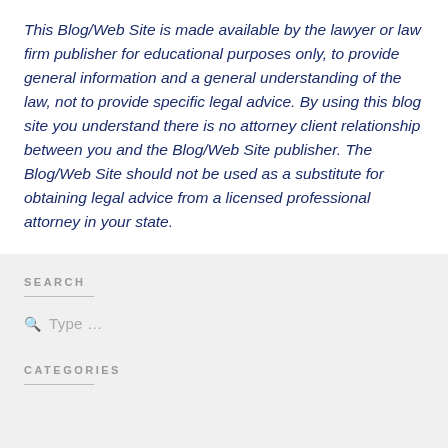This Blog/Web Site is made available by the lawyer or law firm publisher for educational purposes only, to provide general information and a general understanding of the law, not to provide specific legal advice. By using this blog site you understand there is no attorney client relationship between you and the Blog/Web Site publisher. The Blog/Web Site should not be used as a substitute for obtaining legal advice from a licensed professional attorney in your state.
SEARCH
CATEGORIES